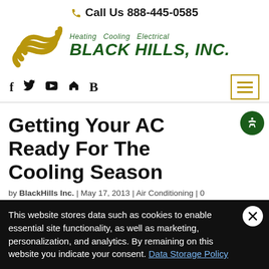Call Us 888-445-0585
[Figure (logo): Black Hills Inc. logo with gold wave icon and green company name text reading 'Heating Cooling Electrical BLACK HILLS, INC.']
Social media icons: Facebook, Twitter, YouTube, Home, B — and hamburger menu button
Getting Your AC Ready For The Cooling Season
by BlackHills Inc. | May 17, 2013 | Air Conditioning | 0
This website stores data such as cookies to enable essential site functionality, as well as marketing, personalization, and analytics. By remaining on this website you indicate your consent. Data Storage Policy